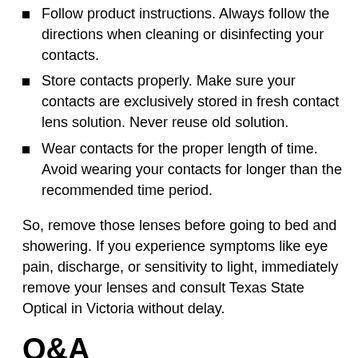Follow product instructions. Always follow the directions when cleaning or disinfecting your contacts.
Store contacts properly. Make sure your contacts are exclusively stored in fresh contact lens solution. Never reuse old solution.
Wear contacts for the proper length of time. Avoid wearing your contacts for longer than the recommended time period.
So, remove those lenses before going to bed and showering. If you experience symptoms like eye pain, discharge, or sensitivity to light, immediately remove your lenses and consult Texas State Optical in Victoria without delay.
Q&A